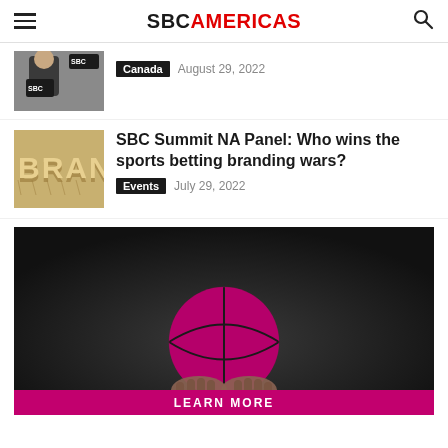SBCAMERICAS
[Figure (photo): Partial article thumbnail: man with SBC badge at conference]
Canada  August 29, 2022
[Figure (photo): Thumbnail showing 3D letters spelling BRAN (branding concept)]
SBC Summit NA Panel: Who wins the sports betting branding wars?
Events  July 29, 2022
[Figure (photo): Advertisement banner: hands holding a pink/magenta basketball against dark background with LEARN MORE button]